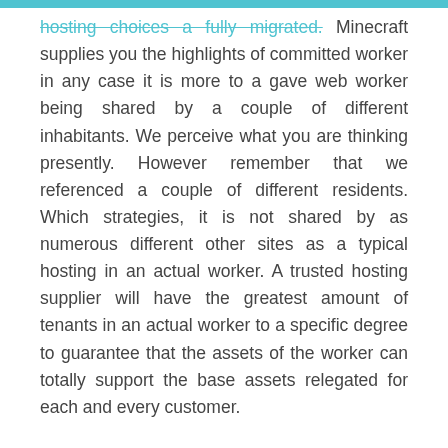hosting choices a fully migrated. Minecraft supplies you the highlights of committed worker in any case it is more to a gave web worker being shared by a couple of different inhabitants. We perceive what you are thinking presently. However remember that we referenced a couple of different residents. Which strategies, it is not shared by as numerous different other sites as a typical hosting in an actual worker. A trusted hosting supplier will have the greatest amount of tenants in an actual worker to a specific degree to guarantee that the assets of the worker can totally support the base assets relegated for each and every customer.

The most inestimable capacity of minecraft would be the root availability. Each customer will surely be given a beginning access, henceforth you can set